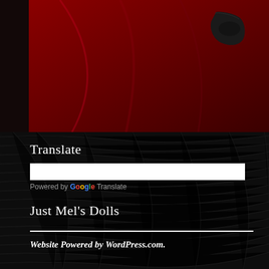[Figure (photo): Top portion shows a dark reddish-crimson background (like fabric or a dress) with what appears to be a black shoe or boot visible in the upper right area. Left side has a dark brown narrow strip.]
Translate
Powered by Google Translate
Just Mel's Dolls
Website Powered by WordPress.com.